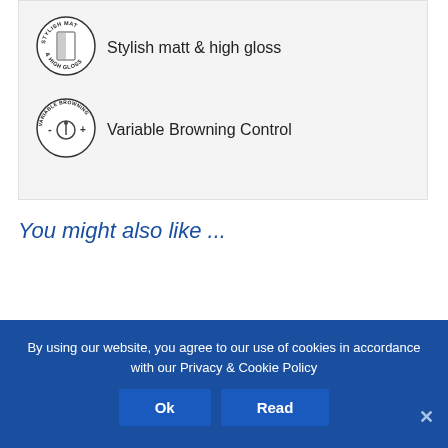[Figure (logo): Circular badge icon with text 'STYLISH MAT & HIGH GLOSS' and a two-tone panel illustration]
Stylish matt & high gloss
[Figure (logo): Circular badge icon with text 'VARIABLE BROWNING' and a dial/control illustration with minus and plus symbols]
Variable Browning Control
You might also like ...
By using our website, you agree to our use of cookies in accordance with our Privacy & Cookie Policy
Ok
Read